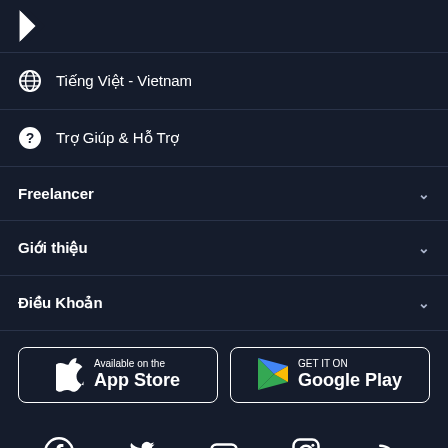[Figure (logo): Freelancer app logo arrow icon, white on dark background]
🌐  Tiếng Việt - Vietnam
?  Trợ Giúp & Hỗ Trợ
Freelancer  ∨
Giới thiệu  ∨
Điều Khoản  ∨
[Figure (screenshot): Available on the App Store button]
[Figure (screenshot): GET IT ON Google Play button]
[Figure (infographic): Social media icons row: Facebook, Twitter, YouTube, Instagram, RSS]